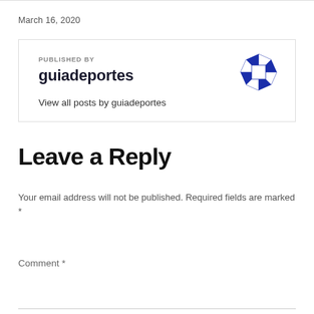March 16, 2020
PUBLISHED BY
guiadeportes
View all posts by guiadeportes
[Figure (logo): Blue and white diamond geometric logo mark]
Leave a Reply
Your email address will not be published. Required fields are marked *
Comment *